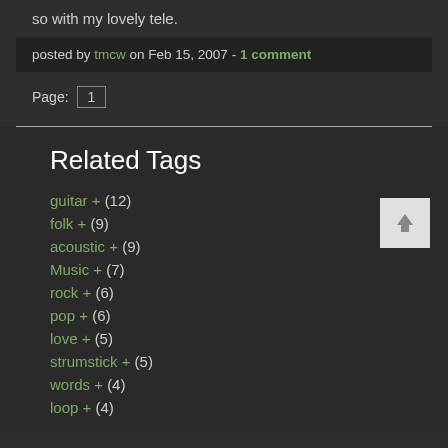so with my lovely tele.
posted by tmcw on Feb 15, 2007 - 1 comment
Page: 1
Related Tags
guitar + (12)
folk + (9)
acoustic + (9)
Music + (7)
rock + (6)
pop + (6)
love + (5)
strumstick + (5)
words + (4)
loop + (4)